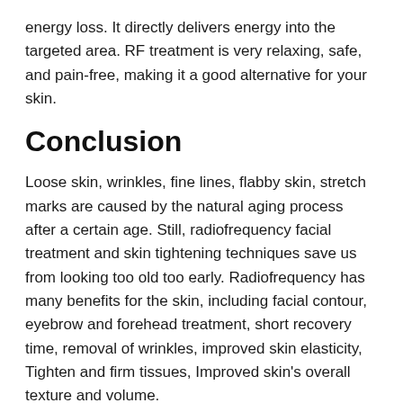energy loss. It directly delivers energy into the targeted area. RF treatment is very relaxing, safe, and pain-free, making it a good alternative for your skin.
Conclusion
Loose skin, wrinkles, fine lines, flabby skin, stretch marks are caused by the natural aging process after a certain age. Still, radiofrequency facial treatment and skin tightening techniques save us from looking too old too early. Radiofrequency has many benefits for the skin, including facial contour, eyebrow and forehead treatment, short recovery time, removal of wrinkles, improved skin elasticity, Tighten and firm tissues, Improved skin’s overall texture and volume.
It is a non-invasive treatment, there’s no downtime, but